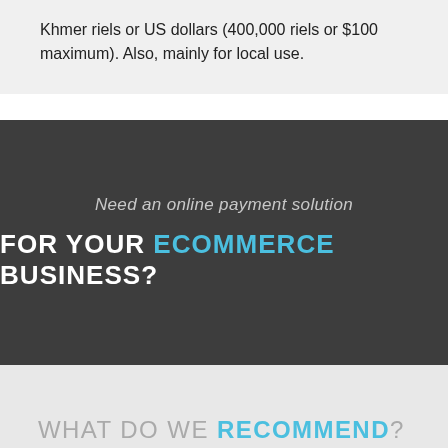Khmer riels or US dollars (400,000 riels or $100 maximum). Also, mainly for local use.
[Figure (infographic): Dark gray banner with centered text: italic 'Need an online payment solution' above bold uppercase 'FOR YOUR ECOMMERCE BUSINESS?']
WHAT DO WE RECOMMEND?